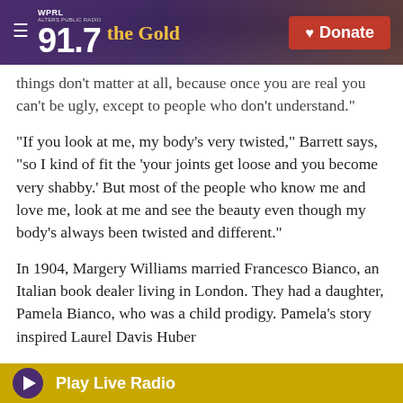[Figure (screenshot): WPRL 91.7 The Gold public radio website header with purple background, gold logo text, and red Donate button]
things don't matter at all, because once you are real you can't be ugly, except to people who don't understand."
"If you look at me, my body's very twisted," Barrett says, "so I kind of fit the 'your joints get loose and you become very shabby.' But most of the people who know me and love me, look at me and see the beauty even though my body's always been twisted and different."
In 1904, Margery Williams married Francesco Bianco, an Italian book dealer living in London. They had a daughter, Pamela Bianco, who was a child prodigy. Pamela's story inspired Laurel Davis Huber
Play Live Radio